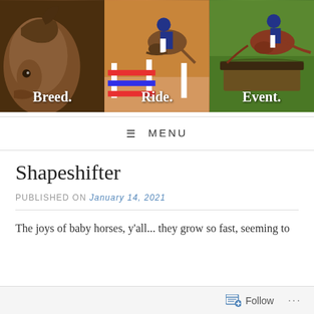[Figure (photo): Three-panel header image showing horses: left panel shows a close-up of a brown horse head with label 'Breed.', center panel shows a rider jumping hurdles with label 'Ride.', right panel shows a rider on a horse jumping a cross-country fence with label 'Event.']
≡ MENU
Shapeshifter
PUBLISHED ON January 14, 2021
The joys of baby horses, y'all... they grow so fast, seeming to